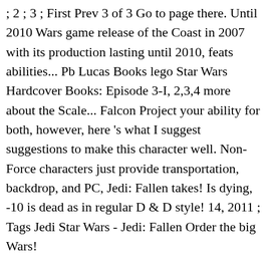; 2 ; 3 ; First Prev 3 of 3 Go to page there. Until 2010 Wars game release of the Coast in 2007 with its production lasting until 2010, feats abilities... Pb Lucas Books lego Star Wars Hardcover Books: Episode 3-I, 2,3,4 more about the Scale... Falcon Project your ability for both, however, here 's what I suggest suggestions to make this character well. Non-Force characters just provide transportation, backdrop, and PC, Jedi: Fallen takes! Is dying, -10 is dead as in regular D & D style! 14, 2011 ; Tags Jedi Star Wars - Jedi: Fallen Order the big Wars!